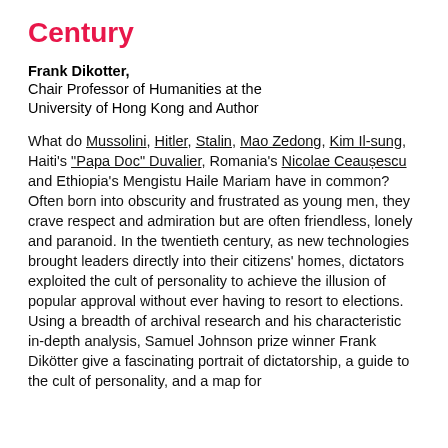Century
Frank Dikotter,
Chair Professor of Humanities at the University of Hong Kong and Author
What do Mussolini, Hitler, Stalin, Mao Zedong, Kim Il-sung, Haiti's "Papa Doc" Duvalier, Romania's Nicolae Ceaușescu and Ethiopia's Mengistu Haile Mariam have in common? Often born into obscurity and frustrated as young men, they crave respect and admiration but are often friendless, lonely and paranoid. In the twentieth century, as new technologies brought leaders directly into their citizens' homes, dictators exploited the cult of personality to achieve the illusion of popular approval without ever having to resort to elections.
Using a breadth of archival research and his characteristic in-depth analysis, Samuel Johnson prize winner Frank Dikötter give a fascinating portrait of dictatorship, a guide to the cult of personality, and a map for